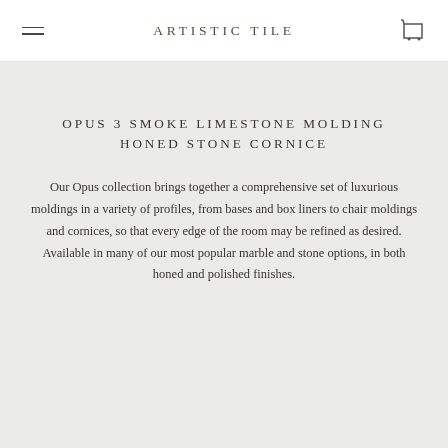ARTISTIC TILE
OPUS 3 SMOKE LIMESTONE MOLDING HONED STONE CORNICE
Our Opus collection brings together a comprehensive set of luxurious moldings in a variety of profiles, from bases and box liners to chair moldings and cornices, so that every edge of the room may be refined as desired. Available in many of our most popular marble and stone options, in both honed and polished finishes.